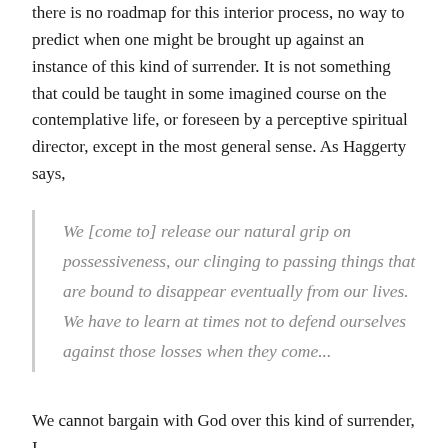there is no roadmap for this interior process, no way to predict when one might be brought up against an instance of this kind of surrender. It is not something that could be taught in some imagined course on the contemplative life, or foreseen by a perceptive spiritual director, except in the most general sense. As Haggerty says,
We [come to] release our natural grip on possessiveness, our clinging to passing things that are bound to disappear eventually from our lives. We have to learn at times not to defend ourselves against those losses when they come...
We cannot bargain with God over this kind of surrender, I